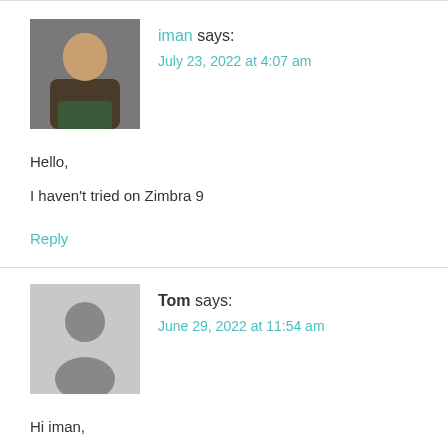iman says:
July 23, 2022 at 4:07 am
Hello,
I haven't tried on Zimbra 9
Reply
Tom says:
June 29, 2022 at 11:54 am
Hi iman,